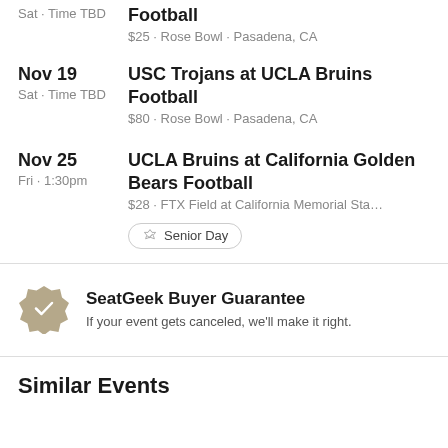Sat · Time TBD Football
$25 · Rose Bowl · Pasadena, CA
Nov 19 USC Trojans at UCLA Bruins Football
Sat · Time TBD $80 · Rose Bowl · Pasadena, CA
Nov 25 UCLA Bruins at California Golden Bears Football
Fri · 1:30pm $28 · FTX Field at California Memorial Sta…
Senior Day
SeatGeek Buyer Guarantee
If your event gets canceled, we'll make it right.
Similar Events